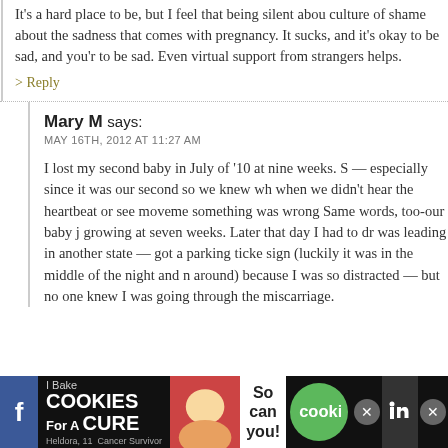It's a hard place to be, but I feel that being silent about it only perpetuates a culture of shame about the sadness that comes with pregnancy loss. It sucks, and it's okay to be sad, and you're allowed to be sad. Even virtual support from strangers helps.
> Reply
Mary M says:
MAY 16TH, 2012 AT 11:27 AM
I lost my second baby in July of '10 at nine weeks. S — especially since it was our second so we knew wh when we didn't hear the heartbeat or see movemer something was wrong Same words, too-our baby ji growing at seven weeks. Later that day I had to dri was leading in another state — got a parking ticket sign (luckily it was in the middle of the night and nc around) because I was so distracted — but no one a knew I was going through the miscarriage.
[Figure (screenshot): Advertisement banner at the bottom: 'I Bake COOKIES For A CURE' with social media icons]